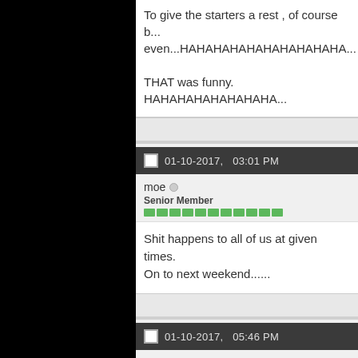To give the starters a rest , of course b... even...HAHAHAHAHAHAHAHAHAHA... THAT was funny. HAHAHAHAHAHAHAHA...
01-10-2017,   03:01 PM
moe
Senior Member
Shit happens to all of us at given times. On to next weekend......
01-10-2017,   05:46 PM
Jerry Oz
Senior Member
Could be b...